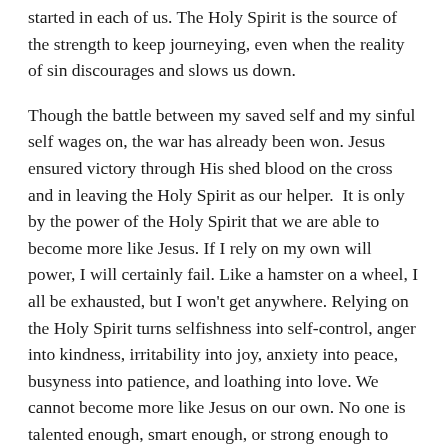started in each of us. The Holy Spirit is the source of the strength to keep journeying, even when the reality of sin discourages and slows us down.
Though the battle between my saved self and my sinful self wages on, the war has already been won. Jesus ensured victory through His shed blood on the cross and in leaving the Holy Spirit as our helper.  It is only by the power of the Holy Spirit that we are able to become more like Jesus. If I rely on my own will power, I will certainly fail. Like a hamster on a wheel, I all be exhausted, but I won't get anywhere. Relying on the Holy Spirit turns selfishness into self-control, anger into kindness, irritability into joy, anxiety into peace, busyness into patience, and loathing into love. We cannot become more like Jesus on our own. No one is talented enough, smart enough, or strong enough to fight the power of sin in our lives. Only God can make us more like God. We must rely on His strength, His wisdom, and His grace. That alone can defeat sin's grip on us.
And what can we do to foster our relationship with Him...